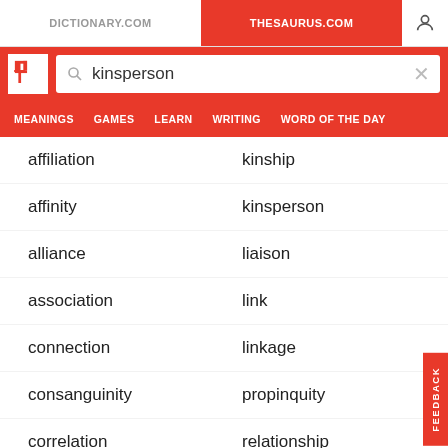DICTIONARY.COM | THESAURUS.COM
kinsperson (search query)
MEANINGS  GAMES  LEARN  WRITING  WORD OF THE DAY
affiliation
kinship
affinity
kinsperson
alliance
liaison
association
link
connection
linkage
consanguinity
propinquity
correlation
relationship
interdependence
relative
interrelationship
consanguinity (partial)